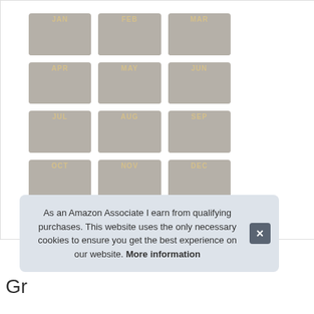[Figure (photo): 12 leather-textured month tab dividers arranged in a 3x4 grid. Each tab is a grey/beige color with gold lettering showing the abbreviated month name (JAN, FEB, MAR, APR, MAY, JUN, JUL, AUG, SEP, OCT, NOV, DEC). Each tab has a raised top section where the label appears.]
As an Amazon Associate I earn from qualifying purchases. This website uses the only necessary cookies to ensure you get the best experience on our website. More information
Gr